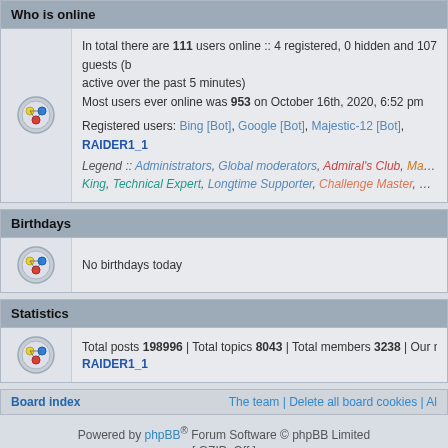Who is online
In total there are 111 users online :: 4 registered, 0 hidden and 107 guests (based on users active over the past 5 minutes)
Most users ever online was 953 on October 16th, 2020, 6:52 pm
Registered users: Bing [Bot], Google [Bot], Majestic-12 [Bot], RAIDER1_1
Legend :: Administrators, Global moderators, Admiral's Club, Master Contributors, King, Technical Expert, Longtime Supporter, Challenge Master, Community M...
Birthdays
No birthdays today
Statistics
Total posts 198996 | Total topics 8043 | Total members 3238 | Our newest member RAIDER1_1
Board index | The team | Delete all board cookies | All
Powered by phpBB® Forum Software © phpBB Limited
[ GZIP: Off ]